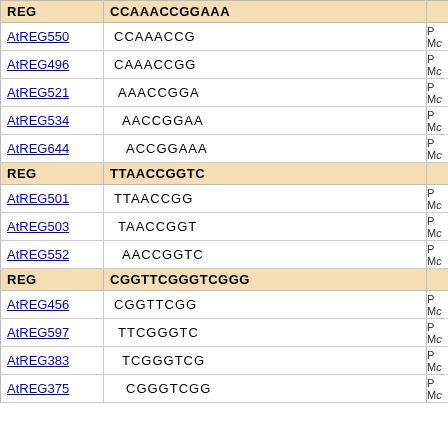| REG/ID | Sequence | Info |
| --- | --- | --- |
| REG | CCAAACCGGAAA | + |
| AtREG550 | CCAAACCG | P... M... |
| AtREG496 | CAAACCGG | P... M... |
| AtREG521 | AAACCGGA | P... M... |
| AtREG534 | AACCGGAA | P... M... |
| AtREG644 | ACCGGAAA | P... M... |
| REG | TTAACCGGTC | + |
| AtREG501 | TTAACCGG | P... M... |
| AtREG503 | TAACCGGT | P... M... |
| AtREG552 | AACCGGTC | P... M... |
| REG | CGGTTCGGGTCGGG | + |
| AtREG456 | CGGTTCGG | P... M... |
| AtREG597 | TTCGGGTC | P... M... |
| AtREG383 | TCGGGTCG | P... M... |
| AtREG375 | CGGGTCGG | P... M... |